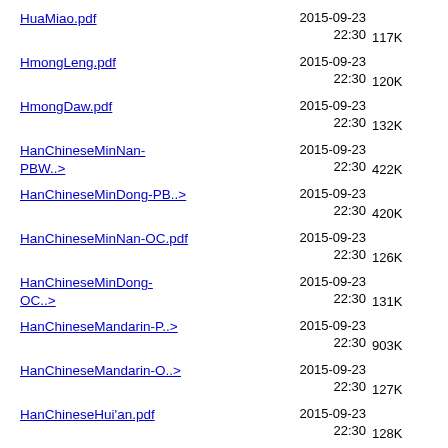HuaMiao.pdf  2015-09-23 22:30  117K
HmongLeng.pdf  2015-09-23 22:30  120K
HmongDaw.pdf  2015-09-23 22:30  132K
HanChineseMinNan-PBW..>  2015-09-23 22:30  422K
HanChineseMinDong-PB..>  2015-09-23 22:30  420K
HanChineseMinNan-OC.pdf  2015-09-23 22:30  126K
HanChineseMinDong-OC..>  2015-09-23 22:30  131K
HanChineseMandarin-P..>  2015-09-23 22:30  903K
HanChineseMandarin-O..>  2015-09-23 22:30  127K
HanChineseHui'an.pdf  2015-09-23 22:30  128K
HanChineseHainanese.pdf  2015-09-23 22:30  336K